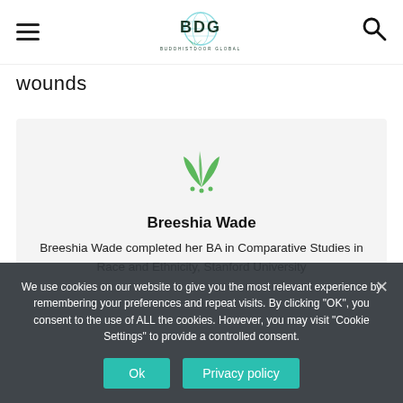BDG — Buddhistdoor Global header with hamburger menu and search icon
wounds
[Figure (illustration): BDG three-leaf logo mark in green, centered on light gray card background]
Breeshia Wade
Breeshia Wade completed her BA in Comparative Studies in Race and Ethnicity, Stanford University
We use cookies on our website to give you the most relevant experience by remembering your preferences and repeat visits. By clicking "OK", you consent to the use of ALL the cookies. However, you may visit "Cookie Settings" to provide a controlled consent.